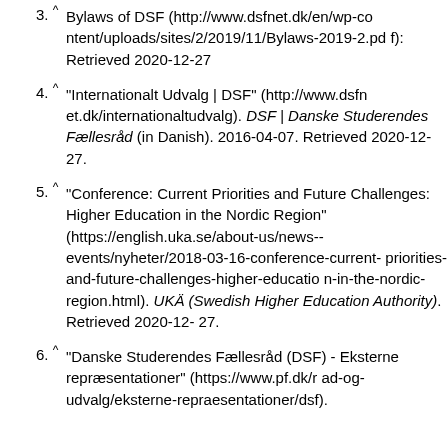3. ^ Bylaws of DSF (http://www.dsfnet.dk/en/wp-content/uploads/sites/2/2019/11/Bylaws-2019-2.pdf): Retrieved 2020-12-27
4. ^ "Internationalt Udvalg | DSF" (http://www.dsfnet.dk/internationaltudvalg). DSF | Danske Studerendes Fællesråd (in Danish). 2016-04-07. Retrieved 2020-12-27.
5. ^ "Conference: Current Priorities and Future Challenges: Higher Education in the Nordic Region" (https://english.uka.se/about-us/news--events/nyheter/2018-03-16-conference-current-priorities-and-future-challenges-higher-education-in-the-nordic-region.html). UKÄ (Swedish Higher Education Authority). Retrieved 2020-12-27.
6. ^ "Danske Studerendes Fællesråd (DSF) - Eksterne repræsentationer" (https://www.pf.dk/rad-og-udvalg/eksterne-repraesentationer/dsf).